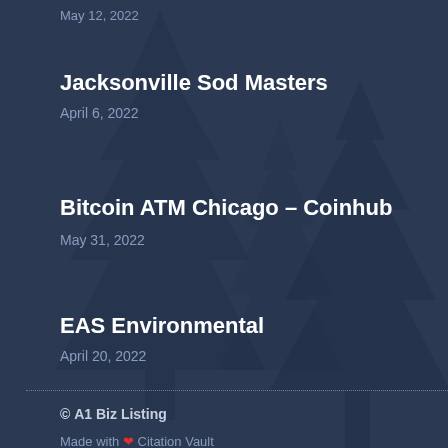May 12, 2022
Jacksonville Sod Masters
April 6, 2022
Bitcoin ATM Chicago – Coinhub
May 31, 2022
EAS Environmental
April 20, 2022
© A1 Biz Listing
Made with ❤ Citation Vault